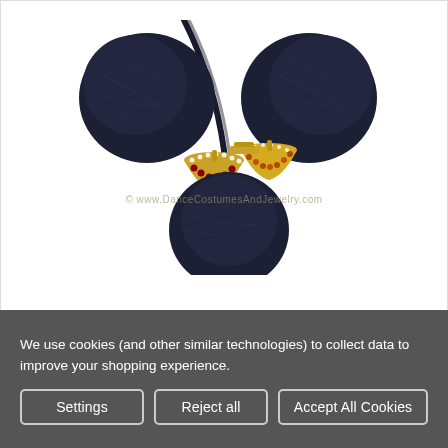[Figure (photo): Round Kunjalam Temple Jewelry — dark navy blue yarn/thread pom-pom balls with ornate gold, red gemstone and pearl-decorated jhumka (bell-shaped) connectors, hung on a dark cord, against white background. Watermark: © www.DanceCostumesAndJewelry.com]
Round Kunjalam Temple Jewelry
We use cookies (and other similar technologies) to collect data to improve your shopping experience.